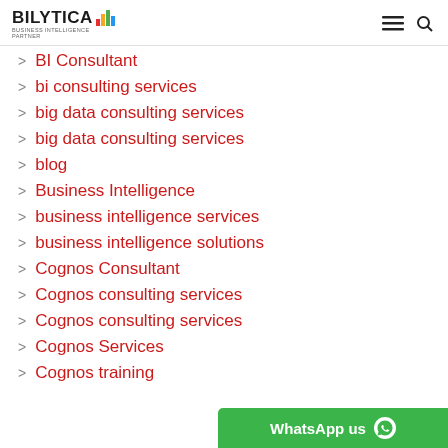BILYTICA [logo with bar chart icon]
BI Consultant
bi consulting services
big data consulting services
big data consulting services
blog
Business Intelligence
business intelligence services
business intelligence solutions
Cognos Consultant
Cognos consulting services
Cognos consulting services
Cognos Services
Cognos training